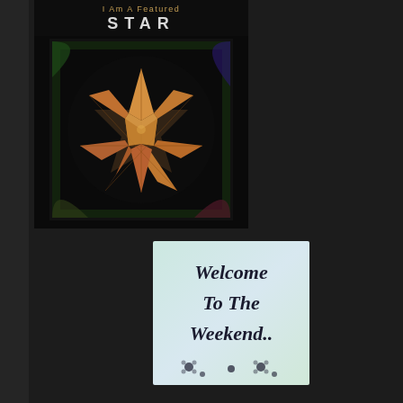[Figure (illustration): Dark page background with a vertical left bar]
[Figure (illustration): Badge/graphic: 'I Am A Featured STAR' with a colorful star emblem on black background]
[Figure (illustration): Light blue-green card with cursive text 'Welcome To The Weekend...' with small flower decorations at bottom]